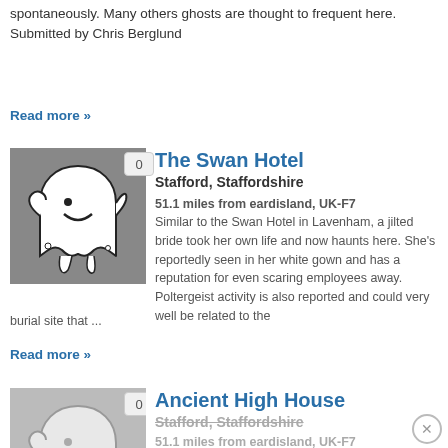spontaneously. Many others ghosts are thought to frequent here. Submitted by Chris Berglund
Read more »
The Swan Hotel
Stafford, Staffordshire
51.1 miles from eardisland, UK-F7
Similar to the Swan Hotel in Lavenham, a jilted bride took her own life and now haunts here. She's reportedly seen in her white gown and has a reputation for even scaring employees away. Poltergeist activity is also reported and could very well be related to the burial site that ...
Read more »
[Figure (illustration): Ghost icon illustration on grey background with badge showing 0]
Ancient High House
Stafford, Staffordshire
51.1 miles from eardisland, UK-F7
William Mason. Submitted by ...
[Figure (illustration): Ghost icon illustration partially visible on grey background with badge showing 0]